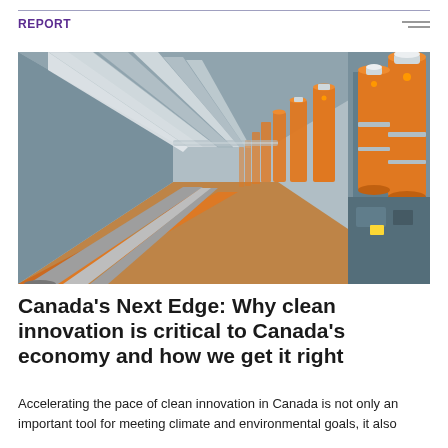REPORT
[Figure (photo): Industrial interior photo showing a long corridor with large silver/metallic ducts or pipes running along the ceiling and floor, with tall orange and silver cylindrical industrial equipment (likely industrial machinery or fermenters) lined up on the right side, with orange flooring visible.]
Canada's Next Edge: Why clean innovation is critical to Canada's economy and how we get it right
Accelerating the pace of clean innovation in Canada is not only an important tool for meeting climate and environmental goals, it also